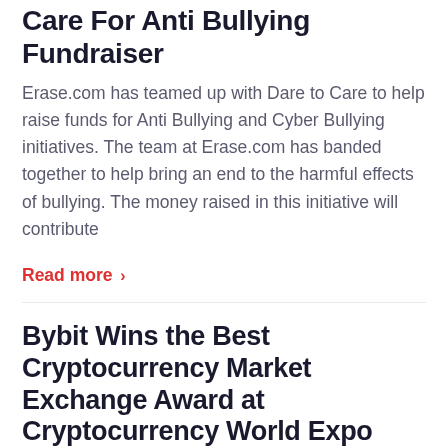Care For Anti Bullying Fundraiser
Erase.com has teamed up with Dare to Care to help raise funds for Anti Bullying and Cyber Bullying initiatives. The team at Erase.com has banded together to help bring an end to the harmful effects of bullying. The money raised in this initiative will contribute
Read more ›
Bybit Wins the Best Cryptocurrency Market Exchange Award at Cryptocurrency World Expo 2022
Bybit is pleased to be recognized as the Best Cryptocurrency Market Exchange at the Cryptocurrency World Expo 2022. Industry leaders and rising stars in the blockchain and cryptocurrency community gathered at the